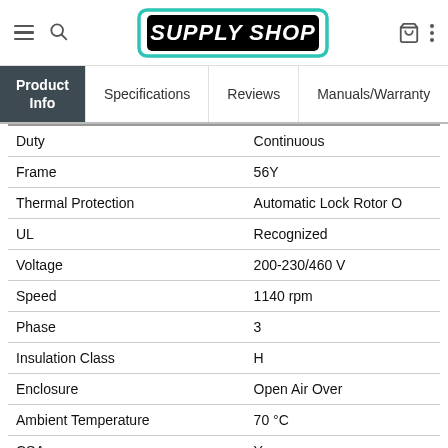[Figure (logo): Supply Shop logo with teal/mint border and bold black italic text on white background]
| Attribute | Value |
| --- | --- |
| Duty | Continuous |
| Frame | 56Y |
| Thermal Protection | Automatic Lock Rotor O |
| UL | Recognized |
| Voltage | 200-230/460 V |
| Speed | 1140 rpm |
| Phase | 3 |
| Insulation Class | H |
| Enclosure | Open Air Over |
| Ambient Temperature | 70 °C |
| CSA | Y |
Technical Specifications